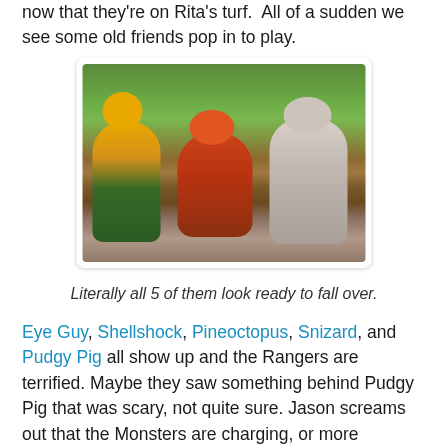now that they're on Rita's turf.  All of a sudden we see some old friends pop in to play.
[Figure (photo): Three monster costumed characters standing outdoors in a garden/park setting with trees in the background. The left monster has yellow tentacle-like protrusions and green scaly lower body, the center monster is reddish-brown, and the right monster appears to be covered in white rounded bumps or shells.]
Literally all 5 of them look ready to fall over.
Eye Guy, Shellshock, Pineoctopus, Snizard, and Pudgy Pig all show up and the Rangers are terrified. Maybe they saw something behind Pudgy Pig that was scary, not quite sure. Jason screams out that the Monsters are charging, or more accurately stumbling forward. The Ranger Teens strike a pose to fight the Monsters but just before they attack, all five vanish. Thanks for the childhood blue balls Power Rangers.